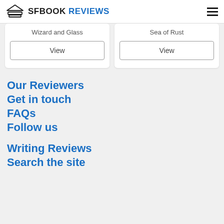SFBOOK REVIEWS
Wizard and Glass
View
Sea of Rust
View
Our Reviewers
Get in touch
FAQs
Follow us
Writing Reviews
Search the site